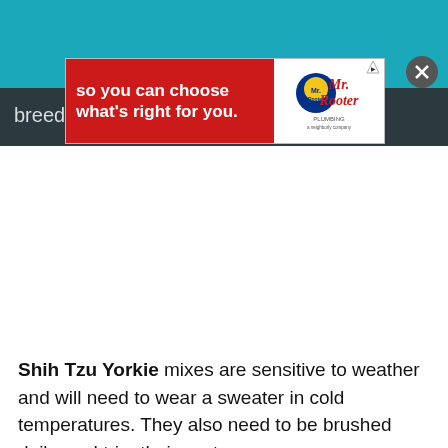[Figure (screenshot): Animalso website header with teal background, paw/dog icon logo, and site name 'Animalso' in white italic text. Hamburger/close menu icon in top right.]
[Figure (screenshot): Advertisement banner overlay: red background with white bold text 'so you can choose what's right for you.' and Mr. Rooter Plumbing logo on right side. Ad icon top right, close X button.]
breed.
Shih Tzu Yorkie mixes are sensitive to weather and will need to wear a sweater in cold temperatures. They also need to be brushed daily, and trim their coat